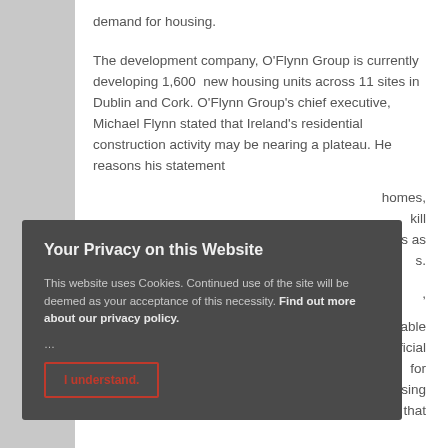demand for housing.
The development company, O'Flynn Group is currently developing 1,600 new housing units across 11 sites in Dublin and Cork. O'Flynn Group's chief executive, Michael Flynn stated that Ireland's residential construction activity may be nearing a plateau. He reasons his statement homes, kill rves as s. are able artificial for affordable housing is not met than the housing crisis will only continue. Lastly, he noted that
[Figure (screenshot): Cookie consent modal overlay with dark background reading 'Your Privacy on this Website'. Contains text: 'This website uses Cookies. Continued use of the site will be deemed as your acceptance of this necessity. Find out more about our privacy policy.' with an 'I understand.' button with red border.]